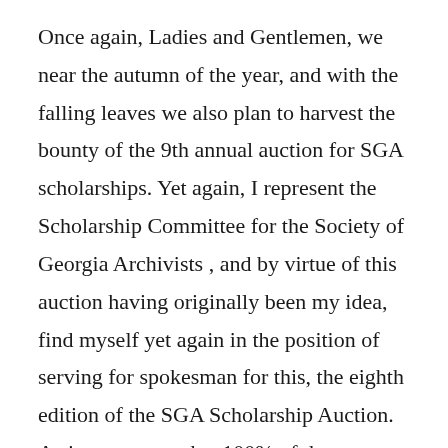Once again, Ladies and Gentlemen, we near the autumn of the year, and with the falling leaves we also plan to harvest the bounty of the 9th annual auction for SGA scholarships. Yet again, I represent the Scholarship Committee for the Society of Georgia Archivists , and by virtue of this auction having originally been my idea, find myself yet again in the position of serving for spokesman for this, the eighth edition of the SGA Scholarship Auction. As in years gone by, 100% of the proceeds of this auction will go towards the myriad scholarships and awards administered by the SGA, including our more